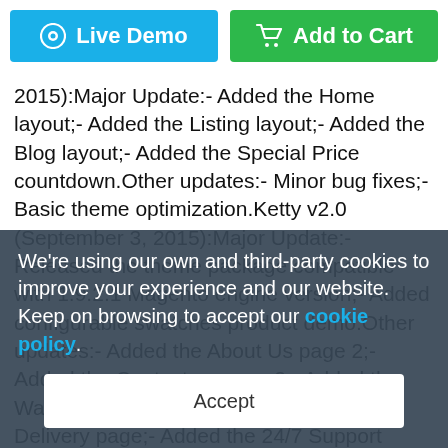[Figure (other): Two buttons: blue 'Live Demo' button with eye icon on the left, and green 'Add to Cart' button with cart icon on the right]
2015):Major Update:- Added the Home layout;- Added the Listing layout;- Added the Blog layout;- Added the Special Price countdown.Other updates:- Minor bug fixes;- Basic theme optimization.Ketty v2.0 (September 3, 2015):Major Update:- Released the theme package compatible with 1.9.2.1 Magento engine version;- Added configurable swatches product demo.Other updates:- Added the About Us page 2;- Added the Contact us page 2;- Added the Warranty page;- Added the Shipping & Delivery page;- Added the 24/7 Support page;- Added the 404 page;- Added the FAQs page;- Added the Ketty Newsletter pages and other pages and designs.
We're using our own and third-party cookies to improve your experience and our website. Keep on browsing to accept our cookie policy.
Accept